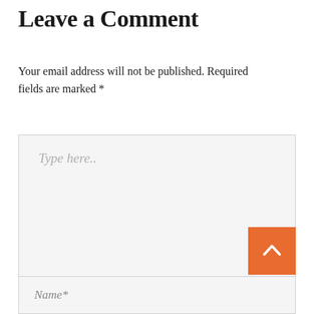Leave a Comment
Your email address will not be published. Required fields are marked *
[Figure (other): Large text area input field with placeholder text 'Type here..' and a resize handle in the bottom-right corner]
[Figure (other): Orange square back-to-top button with a white upward-pointing chevron arrow]
[Figure (other): Text input field with placeholder text 'Name*']